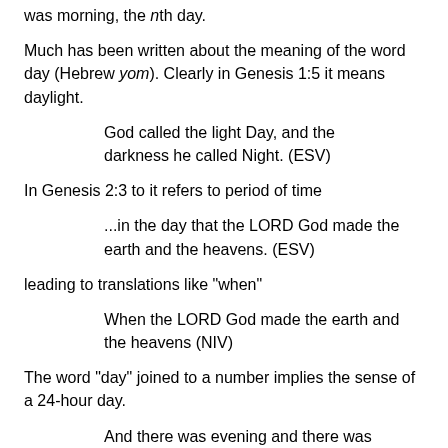was morning, the nth day.
Much has been written about the meaning of the word day (Hebrew yom). Clearly in Genesis 1:5 it means daylight.
God called the light Day, and the darkness he called Night. (ESV)
In Genesis 2:3 to it refers to period of time
...in the day that the LORD God made the earth and the heavens. (ESV)
leading to translations like "when"
When the LORD God made the earth and the heavens (NIV)
The word "day" joined to a number implies the sense of a 24-hour day.
And there was evening and there was morning, the third day. (Gen 1:13 ESV)